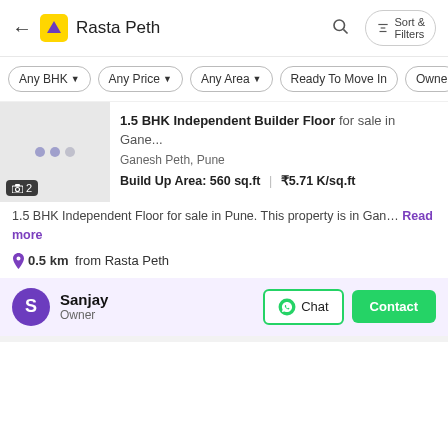← Rasta Peth  🔍  Sort & Filters
Any BHK ▾  Any Price ▾  Any Area ▾  Ready To Move In  Owner
[Figure (screenshot): Property listing thumbnail showing grey placeholder with dots and image count badge '2']
1.5 BHK Independent Builder Floor for sale in Gane...
Ganesh Peth, Pune
Build Up Area: 560 sq.ft  |  ₹5.71 K/sq.ft
1.5 BHK Independent Floor for sale in Pune. This property is in Gan...  Read more
📍 0.5 km from Rasta Peth
Sanjay
Owner
Chat  Contact